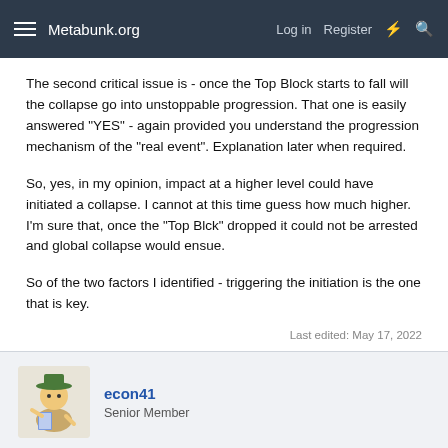Metabunk.org   Log in   Register
The second critical issue is - once the Top Block starts to fall will the collapse go into unstoppable progression. That one is easily answered "YES" - again provided you understand the progression mechanism of the "real event". Explanation later when required.
So, yes, in my opinion, impact at a higher level could have initiated a collapse. I cannot at this time guess how much higher. I'm sure that, once the "Top Blck" dropped it could not be arrested and global collapse would ensue.
So of the two factors I identified - triggering the initiation is the one that is key.
Last edited: May 17, 2022
econ41
Senior Member